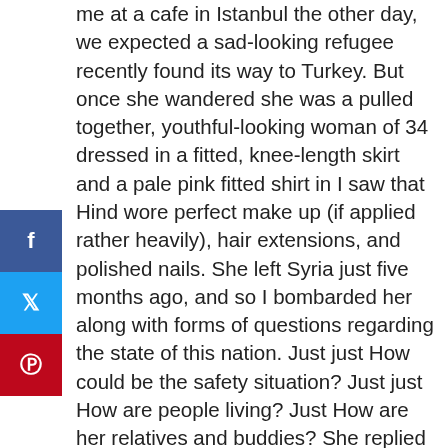me at a cafe in Istanbul the other day, we expected a sad-looking refugee recently found its way to Turkey. But once she wandered she was a pulled together, youthful-looking woman of 34 dressed in a fitted, knee-length skirt and a pale pink fitted shirt in I saw that Hind wore perfect make up (if applied rather heavily), hair extensions, and polished nails. She left Syria just five months ago, and so I bombarded her along with forms of questions regarding the state of this nation. Just just How could be the safety situation? Just just How are people living? Just How are her relatives and buddies? She replied casually: “Nights are difficult so it really is tough, and folks are involved and afraid. Since they are filled with noises of bombs, electricity is just couple of hours every single day” they are typical war tales circumstances that are describing We have worked and resided through myself. I needed to hear Hind’s unique, individual tale.